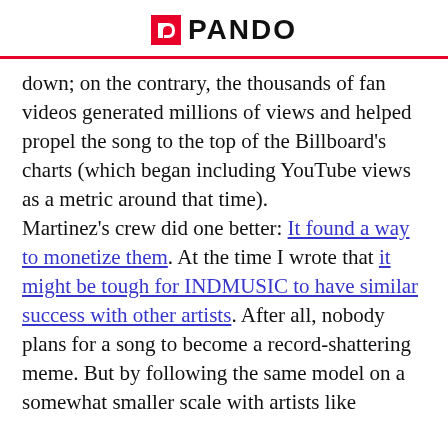PANDO
down; on the contrary, the thousands of fan videos generated millions of views and helped propel the song to the top of the Billboard's charts (which began including YouTube views as a metric around that time). Martinez's crew did one better: It found a way to monetize them. At the time I wrote that it might be tough for INDMUSIC to have similar success with other artists. After all, nobody plans for a song to become a record-shattering meme. But by following the same model on a somewhat smaller scale with artists like